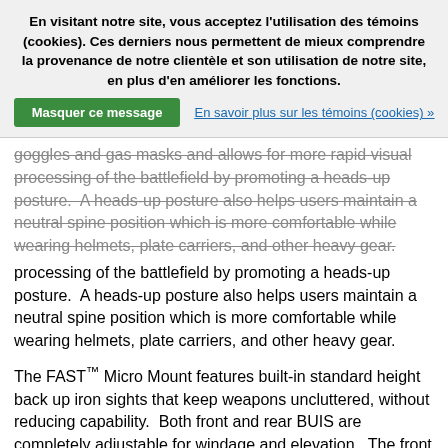En visitant notre site, vous acceptez l'utilisation des témoins (cookies). Ces derniers nous permettent de mieux comprendre la provenance de notre clientèle et son utilisation de notre site, en plus d'en améliorer les fonctions.
Masquer ce message
En savoir plus sur les témoins (cookies) »
goggles and gas masks and allows for more rapid visual processing of the battlefield by promoting a heads-up posture.  A heads-up posture also helps users maintain a neutral spine position which is more comfortable while wearing helmets, plate carriers, and other heavy gear.
The FAST™ Micro Mount features built-in standard height back up iron sights that keep weapons uncluttered, without reducing capability.  Both front and rear BUIS are completely adjustable for windage and elevation.  The front sight post can be removed so that the rear BUIS aperture can be used with a traditional front sight such as our FUSION fixed or folding sights  (if present), creating a more conventional sight radius.  However, the built in front/rear BUIS is perfect for backup on super short PDW/SMG platforms where rail space is critical for